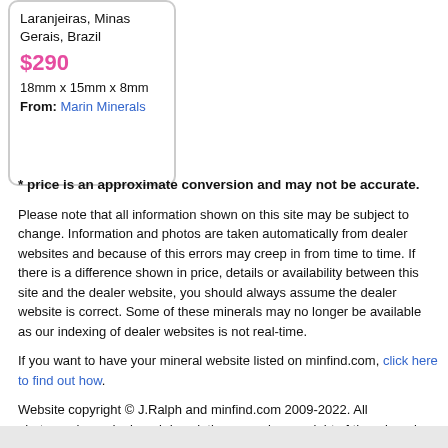Laranjeiras, Minas Gerais, Brazil
$290
18mm x 15mm x 8mm
From: Marin Minerals
* price is an approximate conversion and may not be accurate.
Please note that all information shown on this site may be subject to change. Information and photos are taken automatically from dealer websites and because of this errors may creep in from time to time. If there is a difference shown in price, details or availability between this site and the dealer website, you should always assume the dealer website is correct. Some of these minerals may no longer be available as our indexing of dealer websites is not real-time.
If you want to have your mineral website listed on minfind.com, click here to find out how.
Website copyright © J.Ralph and minfind.com 2009-2022. All photographs and mineral descriptions remain copyright of the mineral dealers. All Rights Reserved.